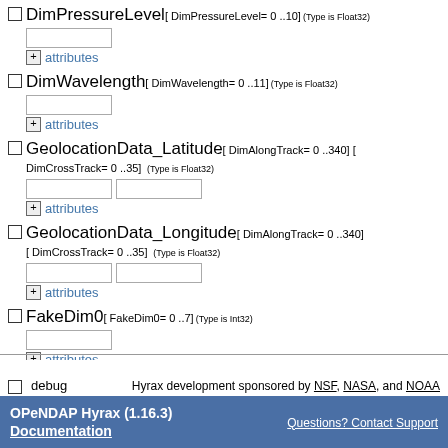DimPressureLevel[ DimPressureLevel= 0 ..10] (Type is Float32)
DimWavelength[ DimWavelength= 0 ..11] (Type is Float32)
GeolocationData_Latitude[ DimAlongTrack= 0 ..340] [ DimCrossTrack= 0 ..35] (Type is Float32)
GeolocationData_Longitude[ DimAlongTrack= 0 ..340] [ DimCrossTrack= 0 ..35] (Type is Float32)
FakeDim0[ FakeDim0= 0 ..7] (Type is Int32)
debug   Hyrax development sponsored by NSF, NASA, and NOAA
OPeNDAP Hyrax (1.16.3) Documentation    Questions? Contact Support